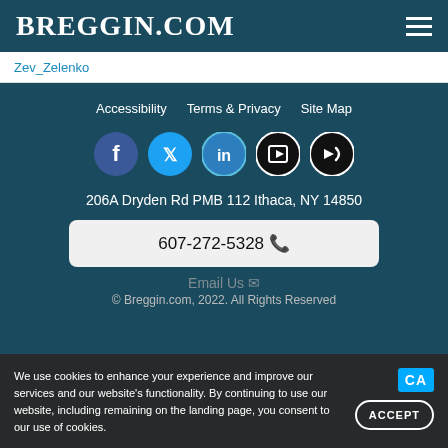BREGGIN.COM
Zev_Zelenko
Accessibility
Terms & Privacy
Site Map
[Figure (illustration): Social media icons: Facebook, Twitter, LinkedIn, YouTube/Play, Broadcast/Megaphone]
206A Dryden Rd PMB 112 Ithaca, NY 14850
607-272-5328
Email Us
© Breggin.com, 2022. All Rights Reserved
We use cookies to enhance your experience and improve our services and our website's functionality. By continuing to use our website, including remaining on the landing page, you consent to our use of cookies.